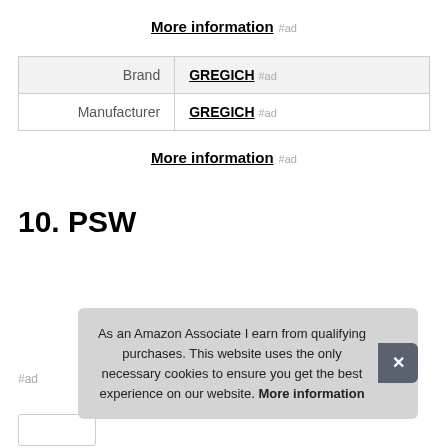More information #ad
| Brand | GREGICH #ad |
| Manufacturer | GREGICH #ad |
More information #ad
10. PSW
#ad
As an Amazon Associate I earn from qualifying purchases. This website uses the only necessary cookies to ensure you get the best experience on our website. More information